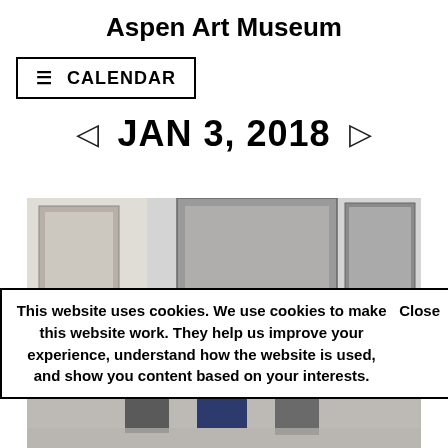Aspen Art Museum
☰ CALENDAR
◁   JAN 3, 2018   ▷
[Figure (photo): Three people viewed from behind standing in an art museum gallery looking at large artworks on the wall.]
This website uses cookies. We use cookies to make this website work. They help us improve your experience, understand how the website is used, and show you content based on your interests.   Close